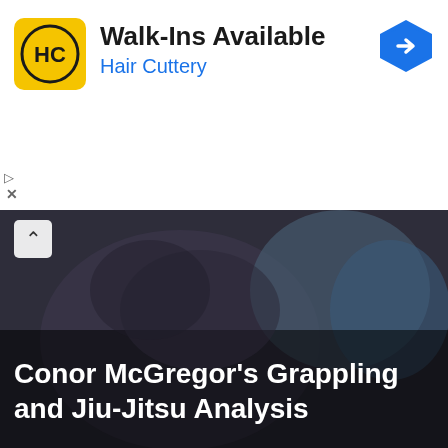[Figure (other): Hair Cuttery advertisement banner with yellow logo, 'Walk-Ins Available' headline, 'Hair Cuttery' subheading in blue, and a blue navigation arrow icon top right]
[Figure (photo): Hero image showing two MMA fighters grappling, with white text overlay reading 'Conor McGregor's Grappling and Jiu-Jitsu Analysis' and a back chevron button]
RELATED POSTS
[Figure (photo): Photo of Khabib Nurmagomedov overlaid on US dollar bills background, HK 41054405 C K11 serial numbers visible]